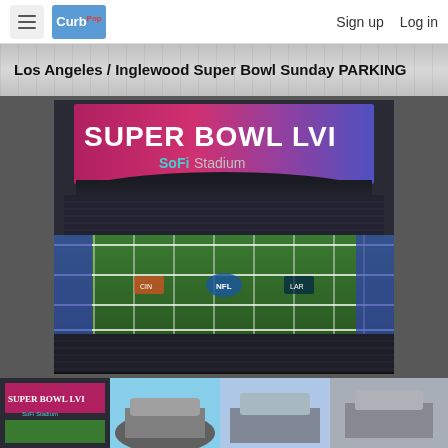CurbPop — Sign up  Log in
Los Angeles / Inglewood Super Bowl Sunday PARKING
[Figure (photo): Interior view of SoFi Stadium with SUPER BOWL LVI signage on scoreboard and football field visible]
[Figure (photo): Thumbnail 1: SUPER BOWL LVI SoFi Stadium interior dark]
[Figure (photo): Thumbnail 2: Aerial view of SoFi Stadium exterior]
[Figure (photo): Thumbnail 3: Exterior of SoFi Stadium sky view]
[Figure (photo): Thumbnail 4: Additional stadium view]